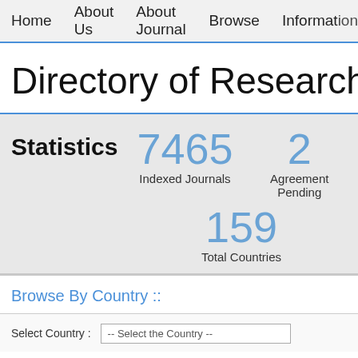Home   About Us   About Journal   Browse   Information
Directory of Research
Statistics   7465 Indexed Journals   2 Agreement Pending   159 Total Countries
Browse By Country ::
Select Country : -- Select the Country --